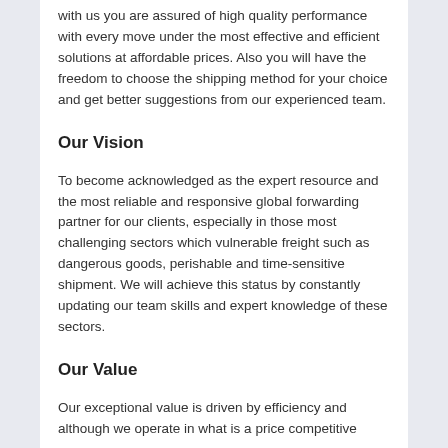with us you are assured of high quality performance with every move under the most effective and efficient solutions at affordable prices. Also you will have the freedom to choose the shipping method for your choice and get better suggestions from our experienced team.
Our Vision
To become acknowledged as the expert resource and the most reliable and responsive global forwarding partner for our clients, especially in those most challenging sectors which vulnerable freight such as dangerous goods, perishable and time-sensitive shipment. We will achieve this status by constantly updating our team skills and expert knowledge of these sectors.
Our Value
Our exceptional value is driven by efficiency and although we operate in what is a price competitive